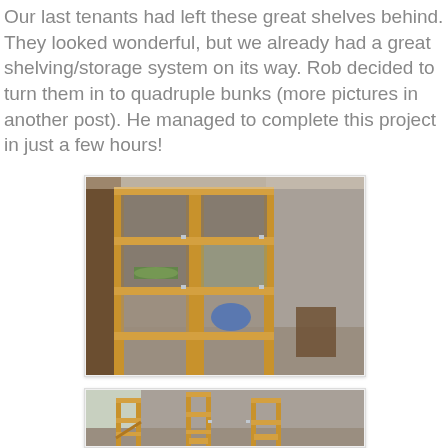Our last tenants had left these great shelves behind. They looked wonderful, but we already had a great shelving/storage system on its way. Rob decided to turn them in to quadruple bunks (more pictures in another post). He managed to complete this project in just a few hours!
[Figure (photo): Photo of wooden shelving units converted into quadruple bunk beds inside a concrete-walled room. A person is visible lying on one of the middle bunks.]
[Figure (photo): Photo of wooden chairs and furniture pieces arranged in a concrete-walled room, viewed from above at an angle.]